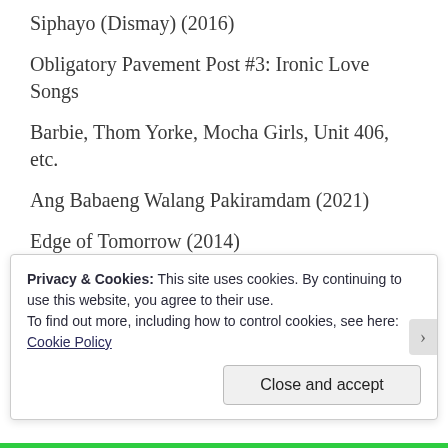Siphayo (Dismay) (2016)
Obligatory Pavement Post #3: Ironic Love Songs
Barbie, Thom Yorke, Mocha Girls, Unit 406, etc.
Ang Babaeng Walang Pakiramdam (2021)
Edge of Tomorrow (2014)
Ekis (1999)/ Tiktik: The Aswang Chronicles (2012)/ Dos Ekis (2001)
Advertisements
[Figure (photo): Dark advertisement image banner]
Privacy & Cookies: This site uses cookies. By continuing to use this website, you agree to their use.
To find out more, including how to control cookies, see here:
Cookie Policy